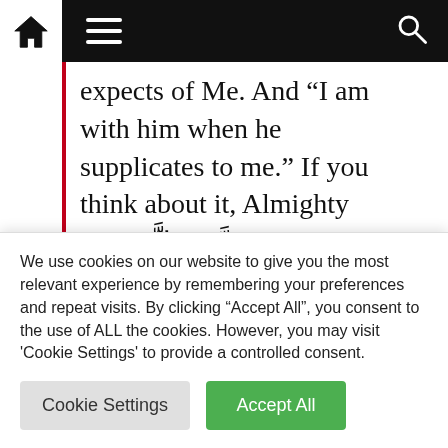[Navigation bar with home, menu, and search icons]
expects of Me. And “I am with him when he supplicates to me.” If you think about it, Almighty Allah عَزّ وَجَلّ is close to everything and everyone by his knowledge and power but this is a special closeness of mercy and grace which is granted to the person offering D...
We use cookies on our website to give you the most relevant experience by remembering your preferences and repeat visits. By clicking “Accept All”, you consent to the use of ALL the cookies. However, you may visit 'Cookie Settings' to provide a controlled consent.